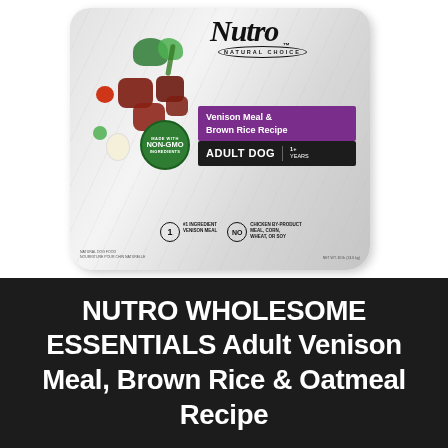[Figure (photo): Nutro Natural Choice dog food bag — Venison Meal & Brown Rice Recipe, Adult Dog 1+ Years, Made With Non-GMO Ingredients, #1 ingredient venison meal, no chicken by-product meal corn wheat or soy]
NUTRO WHOLESOME ESSENTIALS Adult Venison Meal, Brown Rice & Oatmeal Recipe